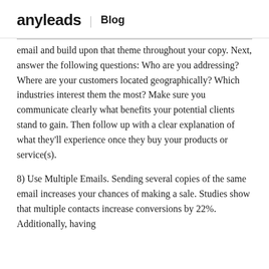anyleads | Blog
email and build upon that theme throughout your copy. Next, answer the following questions: Who are you addressing? Where are your customers located geographically? Which industries interest them the most? Make sure you communicate clearly what benefits your potential clients stand to gain. Then follow up with a clear explanation of what they'll experience once they buy your products or service(s).
8) Use Multiple Emails. Sending several copies of the same email increases your chances of making a sale. Studies show that multiple contacts increase conversions by 22%. Additionally, having